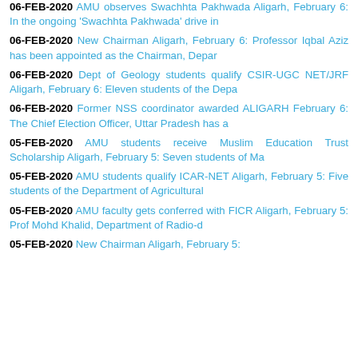06-FEB-2020 AMU observes Swachhta Pakhwada Aligarh, February 6: In the ongoing 'Swachhta Pakhwada' drive in
06-FEB-2020 New Chairman Aligarh, February 6: Professor Iqbal Aziz has been appointed as the Chairman, Depar
06-FEB-2020 Dept of Geology students qualify CSIR-UGC NET/JRF Aligarh, February 6: Eleven students of the Depa
06-FEB-2020 Former NSS coordinator awarded ALIGARH February 6: The Chief Election Officer, Uttar Pradesh has a
05-FEB-2020 AMU students receive Muslim Education Trust Scholarship Aligarh, February 5: Seven students of Ma
05-FEB-2020 AMU students qualify ICAR-NET Aligarh, February 5: Five students of the Department of Agricultural
05-FEB-2020 AMU faculty gets conferred with FICR Aligarh, February 5: Prof Mohd Khalid, Department of Radio-d
05-FEB-2020 New Chairman Aligarh, February 5: